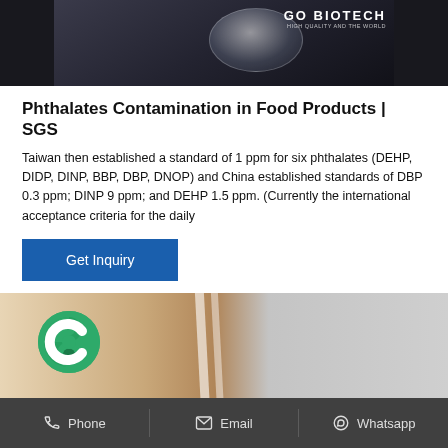[Figure (photo): Top image: dark background with glass lens/disc and GO BIOTECH logo in upper right corner]
Phthalates Contamination in Food Products | SGS
Taiwan then established a standard of 1 ppm for six phthalates (DEHP, DIDP, DINP, BBP, DBP, DNOP) and China established standards of DBP 0.3 ppm; DINP 9 ppm; and DEHP 1.5 ppm. (Currently the international acceptance criteria for the daily
Get Inquiry
[Figure (photo): Hand holding transparent plastic strips with a green circular logo visible on the left side]
Phone   Email   Whatsapp